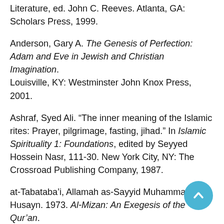Literature, ed. John C. Reeves. Atlanta, GA: Scholars Press, 1999.
Anderson, Gary A. The Genesis of Perfection: Adam and Eve in Jewish and Christian Imagination. Louisville, KY: Westminster John Knox Press, 2001.
Ashraf, Syed Ali. “The inner meaning of the Islamic rites: Prayer, pilgrimage, fasting, jihad.” In Islamic Spirituality 1: Foundations, edited by Seyyed Hossein Nasr, 111-30. New York City, NY: The Crossroad Publishing Company, 1987.
at-Tabataba’i, Allamah as-Sayyid Muhammad Husayn. 1973. Al-Mizan: An Exegesis of the Qur’an. Translated by Sayyid Saeed Akhtar Rizvi. 3rd ed.